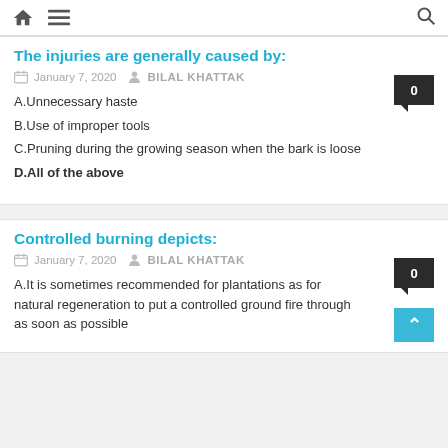home menu search
The injuries are generally caused by:
January 7, 2020   BILAL KHATTAK
A.Unnecessary haste
B.Use of improper tools
C.Pruning during the growing season when the bark is loose
D.All of the above
Controlled burning depicts:
January 7, 2020   BILAL KHATTAK
A.It is sometimes recommended for plantations as for natural regeneration to put a controlled ground fire through as soon as possible